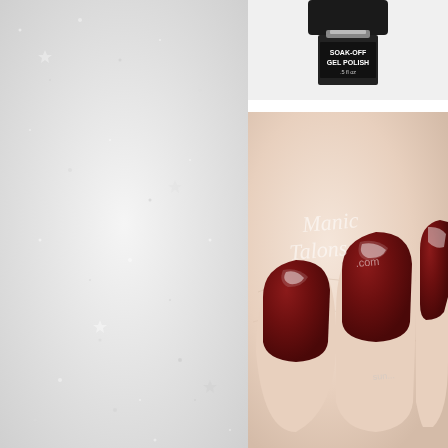[Figure (photo): Left panel with sparkly/glittery silver-white background texture]
[Figure (photo): Top photo showing a nail polish bottle (gel polish, soak-off) with black cap against white background. Label reads 'SOAK-OFF GEL POLISH .5 fl oz']
[Figure (photo): Main photo showing a close-up of fingers with deep dark red/burgundy gel nail polish on square nails. Watermark text reads 'Manic Talons.com' in cursive. Skin is fair/light.]